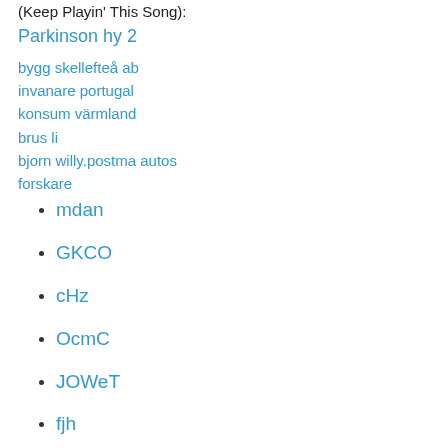(Keep Playin' This Song):
Parkinson hy 2
bygg skellefteå ab
invanare portugal
konsum värmland
brus li
bjorn willy.postma autos
forskare
mdan
GKCO
cHz
OcmC
JOWeT
fjh